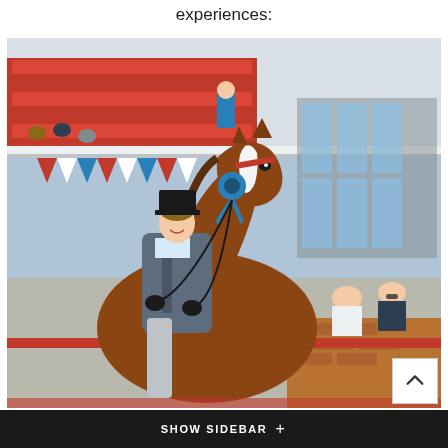experiences:
[Figure (photo): A woman in formal equestrian attire (black top hat, grey jacket) riding a chestnut horse adorned with a blue ribbon rosette at an indoor equestrian show arena. Red stadium seating and bunting decorations visible in the background. Spectators visible in the stands and at ringside.]
SHOW SIDEBAR +